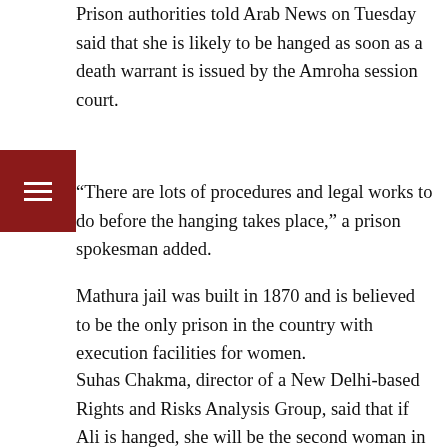Prison authorities told Arab News on Tuesday said that she is likely to be hanged as soon as a death warrant is issued by the Amroha session court.
“There are lots of procedures and legal works to do before the hanging takes place,” a prison spokesman added.
Mathura jail was built in 1870 and is believed to be the only prison in the country with execution facilities for women.
Suhas Chakma, director of a New Delhi-based Rights and Risks Analysis Group, said that if Ali is hanged, she will be the second woman in India to face the gallows since 1947.